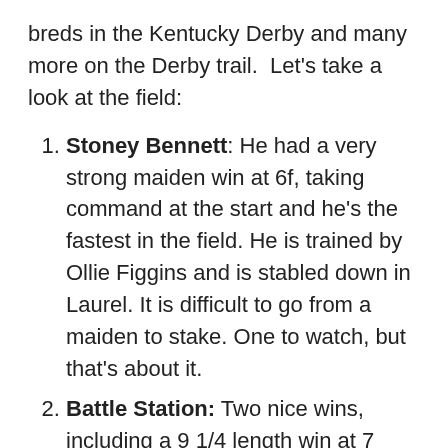breds in the Kentucky Derby and many more on the Derby trail.  Let's take a look at the field:
Stoney Bennett: He had a very strong maiden win at 6f, taking command at the start and he's the fastest in the field. He is trained by Ollie Figgins and is stabled down in Laurel. It is difficult to go from a maiden to stake. One to watch, but that's about it.
Battle Station: Two nice wins, including a 9 1/4 length win at 7 furlongs. Trained by Wesley Ward at Keeneland. A serious